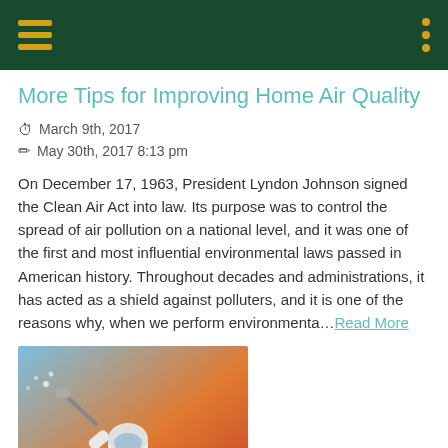Navigation header bar with hamburger menu and dots menu
More Tips for Improving Home Air Quality
March 9th, 2017
May 30th, 2017 8:13 pm
On December 17, 1963, President Lyndon Johnson signed the Clean Air Act into law. Its purpose was to control the spread of air pollution on a national level, and it was one of the first and most influential environmental laws passed in American history. Throughout decades and administrations, it has acted as a shield against polluters, and it is one of the reasons why, when we perform environmenta...Read More
[Figure (photo): Person in protective white suit spraying something on a surface, with blue and orange background tones]
Tips for Improving Home Air Quality